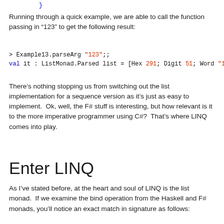}
Running through a quick example, we are able to call the function passing in “123” to get the following result:
> Example13.parseArg "123";;
val it : ListMonad.Parsed list = [Hex 291; Digit 51; Word "123"]
There’s nothing stopping us from switching out the list implementation for a sequence version as it’s just as easy to implement.  Ok, well, the F# stuff is interesting, but how relevant is it to the more imperative programmer using C#?  That’s where LINQ comes into play.
Enter LINQ
As I’ve stated before, at the heart and soul of LINQ is the list monad.  If we examine the bind operation from the Haskell and F# monads, you’ll notice an exact match in signature as follows:
-- Haskell
(>>=) :: m a -> (a -> m b) -> m b